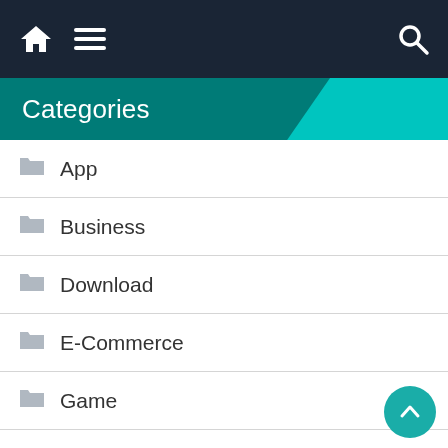Navigation bar with home, menu, and search icons
Categories
App
Business
Download
E-Commerce
Game
Health
How To
News